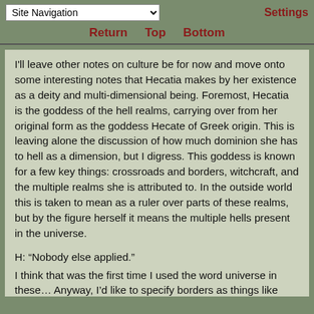Site Navigation | Settings
Return  Top  Bottom
I'll leave other notes on culture be for now and move onto some interesting notes that Hecatia makes by her existence as a deity and multi-dimensional being. Foremost, Hecatia is the goddess of the hell realms, carrying over from her original form as the goddess Hecate of Greek origin. This is leaving alone the discussion of how much dominion she has to hell as a dimension, but I digress. This goddess is known for a few key things: crossroads and borders, witchcraft, and the multiple realms she is attributed to. In the outside world this is taken to mean as a ruler over parts of these realms, but by the figure herself it means the multiple hells present in the universe.

H: “Nobody else applied.”
I think that was the first time I used the word universe in these… Anyway, I’d like to specify borders as things like walls and doorways that she is guardian of. Also, crossroads count. Hecatia carries some of